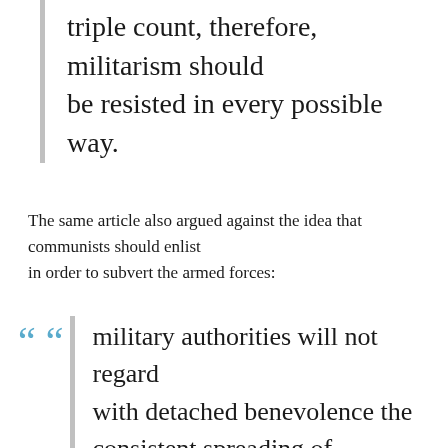triple count, therefore, militarism should be resisted in every possible way.
The same article also argued against the idea that communists should enlist in order to subvert the armed forces:
military authorities will not regard with detached benevolence the consistent spreading of revolutionary thoughts and literature . . . work under